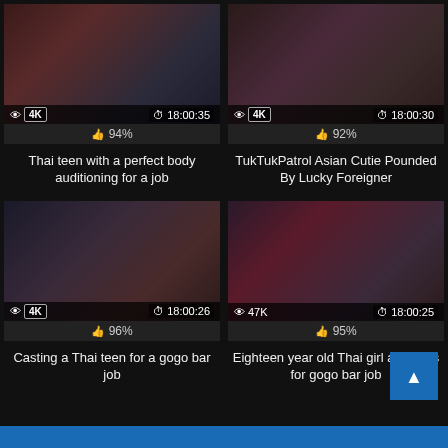[Figure (screenshot): Video thumbnail - Thai teen with a perfect body auditioning for a job, 4K, 18:00:35, 94% likes]
Thai teen with a perfect body auditioning for a job
[Figure (screenshot): Video thumbnail - TukTukPatrol Asian Cutie Pounded By Lucky Foreigner, 4K, 18:00:30, 92% likes]
TukTukPatrol Asian Cutie Pounded By Lucky Foreigner
[Figure (screenshot): Video thumbnail - Casting a Thai teen for a gogo bar job, 4K, 18:00:26, 96% likes]
Casting a Thai teen for a gogo bar job
[Figure (screenshot): Video thumbnail - Eighteen year old Thai girl auditions for gogo bar job, 47K views, 18:00:25, 95% likes]
Eighteen year old Thai girl auditions for gogo bar job